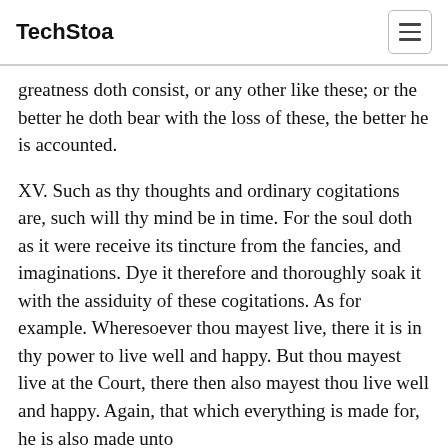TechStoa
greatness doth consist, or any other like these; or the better he doth bear with the loss of these, the better he is accounted.
XV. Such as thy thoughts and ordinary cogitations are, such will thy mind be in time. For the soul doth as it were receive its tincture from the fancies, and imaginations. Dye it therefore and thoroughly soak it with the assiduity of these cogitations. As for example. Wheresoever thou mayest live, there it is in thy power to live well and happy. But thou mayest live at the Court, there then also mayest thou live well and happy. Again, that which everything is made for, he is also made unto